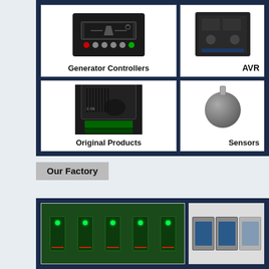[Figure (photo): Generator controller product image with dark casing, screen, and colored buttons]
Generator Controllers
[Figure (photo): AVR (Automatic Voltage Regulator) product image, partially cropped]
AVR
[Figure (photo): Original Products - black electronic charger/controller device with green terminal block]
Original Products
[Figure (photo): Sensor product image - cylindrical metallic sensor with bolt]
Sensors
Our Factory
[Figure (photo): Factory photo showing PCB boards with green LEDs and red wiring on a production line]
[Figure (photo): Factory photo showing monitor/display units in a testing environment, partially cropped]